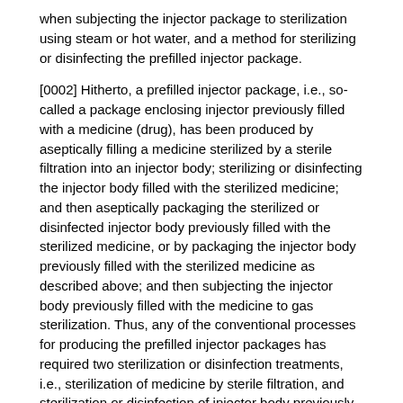when subjecting the injector package to sterilization using steam or hot water, and a method for sterilizing or disinfecting the prefilled injector package.
[0002] Hitherto, a prefilled injector package, i.e., so-called a package enclosing injector previously filled with a medicine (drug), has been produced by aseptically filling a medicine sterilized by a sterile filtration into an injector body; sterilizing or disinfecting the injector body filled with the sterilized medicine; and then aseptically packaging the sterilized or disinfected injector body previously filled with the sterilized medicine, or by packaging the injector body previously filled with the sterilized medicine as described above; and then subjecting the injector body previously filled with the medicine to gas sterilization. Thus, any of the conventional processes for producing the prefilled injector packages has required two sterilization or disinfection treatments, i.e., sterilization of medicine by sterile filtration, and sterilization or disinfection of injector body previously filled with such a sterilized medicine. However, the two treatments are merely applicable to such cases where the medicine previously filled in the injector body can be sterilized by sterile filtration, and are not applicable to highly-viscoelastic fluids (medicines) incapable of sterile filtration.
[0003] Meanwhile, the prefilled injectors generally have such a construction that a medicine is sealed between a plunger and a stopper fitted in a syringe body injector body. The prefilled